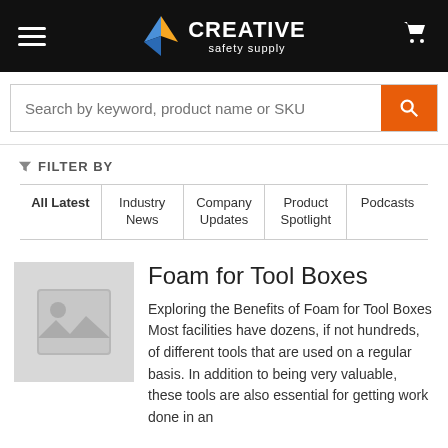[Figure (logo): Creative Safety Supply logo with hamburger menu and cart icon on black header bar]
Search by keyword, product name or SKU
FILTER BY
All Latest
Industry News
Company Updates
Product Spotlight
Podcasts
[Figure (photo): Placeholder image thumbnail with mountain/landscape icon]
Foam for Tool Boxes
Exploring the Benefits of Foam for Tool Boxes Most facilities have dozens, if not hundreds, of different tools that are used on a regular basis. In addition to being very valuable, these tools are also essential for getting work done in an